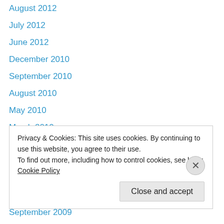August 2012
July 2012
June 2012
December 2010
September 2010
August 2010
May 2010
March 2010
February 2010
January 2010
November 2009
October 2009
September 2009
Privacy & Cookies: This site uses cookies. By continuing to use this website, you agree to their use.
To find out more, including how to control cookies, see here: Cookie Policy